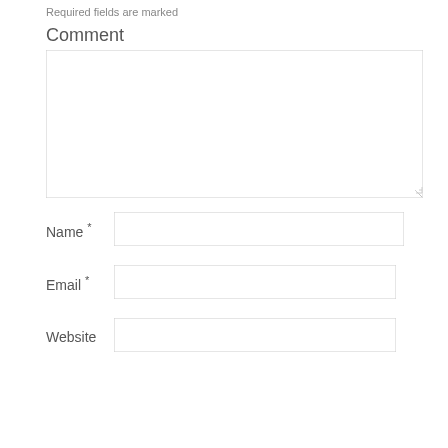Required fields are marked
Comment
[Figure (screenshot): A large empty textarea input for comment submission]
Name *
[Figure (screenshot): A text input field for Name]
Email *
[Figure (screenshot): A text input field for Email]
Website
[Figure (screenshot): A text input field for Website]